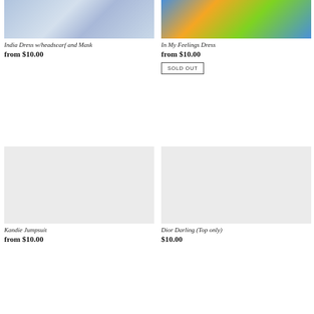[Figure (photo): India Dress with headscarf and Mask product photo showing blue/white tie-dye patterned dress]
India Dress w/headscarf and Mask
from $10.00
[Figure (photo): In My Feelings Dress product photo showing colorful dress]
In My Feelings Dress
from $10.00
SOLD OUT
[Figure (photo): Kandie Jumpsuit product photo - light gray placeholder]
Kandie Jumpsuit
from $10.00
[Figure (photo): Dior Darling (Top only) product photo - light gray placeholder]
Dior Darling (Top only)
$10.00